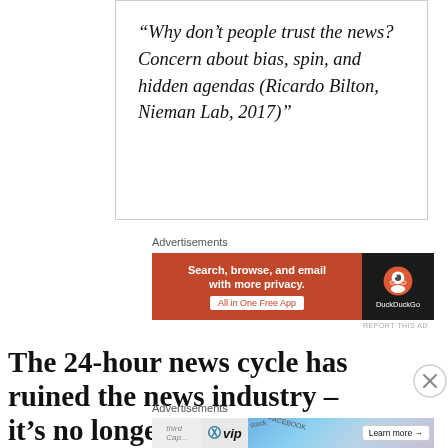“Why don’t people trust the news?  Concern about bias, spin, and hidden agendas (Ricardo Bilton, Nieman Lab, 2017)”
Advertisements
[Figure (other): DuckDuckGo advertisement banner: orange left section with text 'Search, browse, and email with more privacy. All in One Free App' and dark right section with DuckDuckGo logo and name]
REPORT THIS AD
The 24-hour news cycle has ruined the news industry – it’s no longer about
Advertisements
[Figure (other): WordPress VIP advertisement banner with social media imagery and 'Learn more' button]